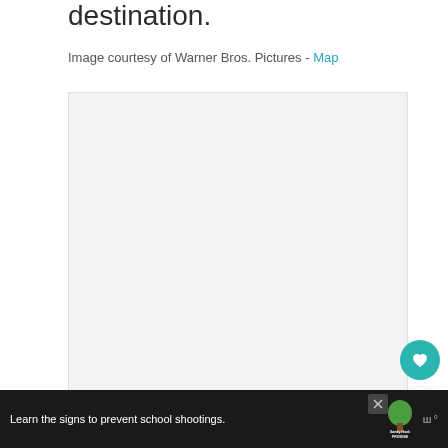destination.
Image courtesy of Warner Bros. Pictures - Map
[Figure (photo): Large image placeholder area with light gray background, image not loaded]
Learn the signs to prevent school shootings. [Sandy Hook Promise logo] [ad close button] [watermark logo]